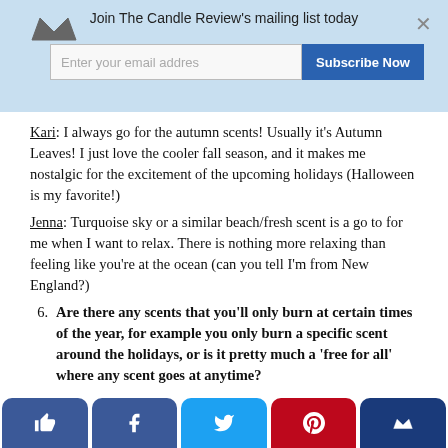Join The Candle Review's mailing list today
Kari: I always go for the autumn scents! Usually it's Autumn Leaves! I just love the cooler fall season, and it makes me nostalgic for the excitement of the upcoming holidays (Halloween is my favorite!)
Jenna: Turquoise sky or a similar beach/fresh scent is a go to for me when I want to relax. There is nothing more relaxing than feeling like you're at the ocean (can you tell I'm from New England?)
6. Are there any scents that you'll only burn at certain times of the year, for example you only burn a specific scent around the holidays, or is it pretty much a 'free for all' where any scent goes at anytime?